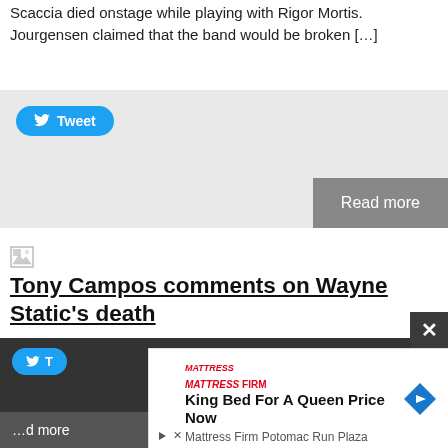Scaccia died onstage while playing with Rigor Mortis. Jourgensen claimed that the band would be broken [...]
[Figure (screenshot): Tweet button and Read more button on grey background]
[Figure (illustration): Broken image placeholder icon]
Tony Campos comments on Wayne Static's death
Posted by Bram Teitelman on November 3, 2014
In the wake of Wayne Static's passing, many have offered condolences and shared memories, but perhaps none as important as one of his fellow band members. Tony Campos, who played with Static-X from 1994 to 2010, offered the following via his Facebook page. I'm having a hard time finding the words to express how I [...]
[Figure (screenshot): Bottom bar with Tweet button partially visible, and Mattress Firm advertisement overlay with 'King Bed For A Queen Price Now' at Mattress Firm Potomac Run Plaza. Close X button visible.]